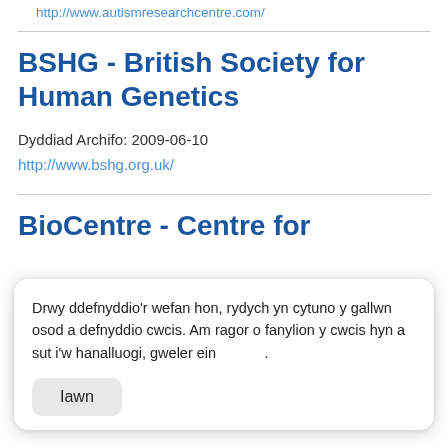http://www.autismresearchcentre.com/
BSHG - British Society for Human Genetics
Dyddiad Archifo: 2009-06-10
http://www.bshg.org.uk/
BioCentre - Centre for
Drwy ddefnyddio'r wefan hon, rydych yn cytuno y gallwn osod a defnyddio cwcis. Am ragor o fanylion y cwcis hyn a sut i'w hanalluogi, gweler ein .
Iawn